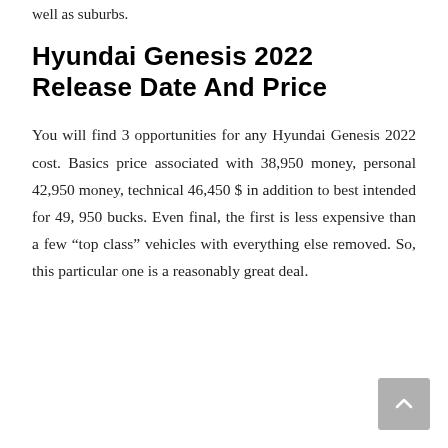well as suburbs.
Hyundai Genesis 2022 Release Date And Price
You will find 3 opportunities for any Hyundai Genesis 2022 cost. Basics price associated with 38,950 money, personal 42,950 money, technical 46,450 $ in addition to best intended for 49, 950 bucks. Even final, the first is less expensive than a few “top class” vehicles with everything else removed. So, this particular one is a reasonably great deal.